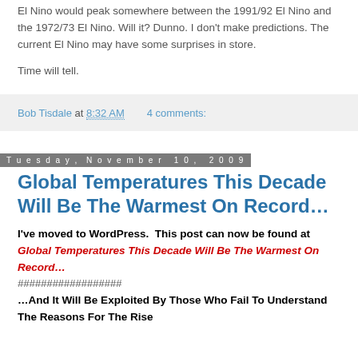El Nino would peak somewhere between the 1991/92 El Nino and the 1972/73 El Nino. Will it? Dunno. I don't make predictions. The current El Nino may have some surprises in store.
Time will tell.
Bob Tisdale at 8:32 AM   4 comments:
Tuesday, November 10, 2009
Global Temperatures This Decade Will Be The Warmest On Record…
I've moved to WordPress.  This post can now be found at Global Temperatures This Decade Will Be The Warmest On Record…
##################
…And It Will Be Exploited By Those Who Fail To Understand The Reasons For The Rise